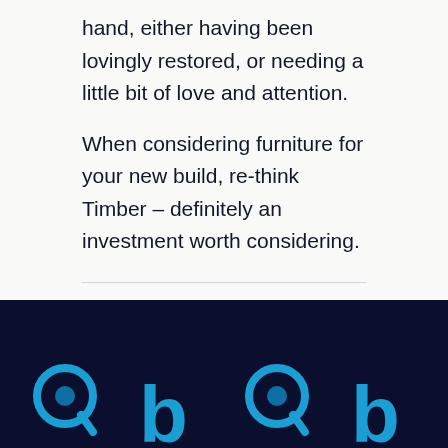hand, either having been lovingly restored, or needing a little bit of love and attention.
When considering furniture for your new build, re-think Timber – definitely an investment worth considering.
← Previous Post
Next Post →
[Figure (logo): Dark navy footer bar with four circular/letter logos in cyan/blue tones, partially visible at bottom of page]